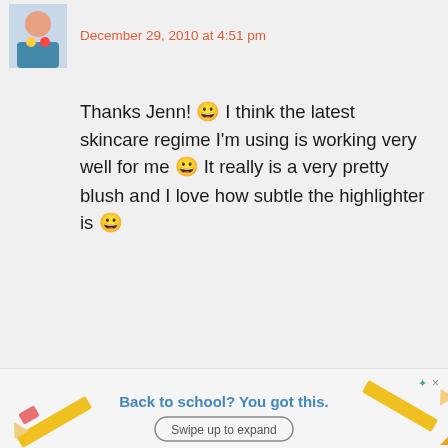December 29, 2010 at 4:51 pm
Thanks Jenn! 😀 I think the latest skincare regime I'm using is working very well for me 😀 It really is a very pretty blush and I love how subtle the highlighter is 😀
Reply
[Figure (infographic): Advertisement bar: pencil and eraser graphics with text 'Back to school? You got this.' and 'Swipe up to expand' button]